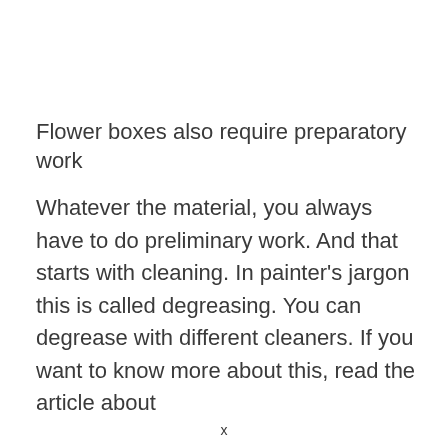Flower boxes also require preparatory work
Whatever the material, you always have to do preliminary work. And that starts with cleaning. In painter's jargon this is called degreasing. You can degrease with different cleaners. If you want to know more about this, read the article about
x